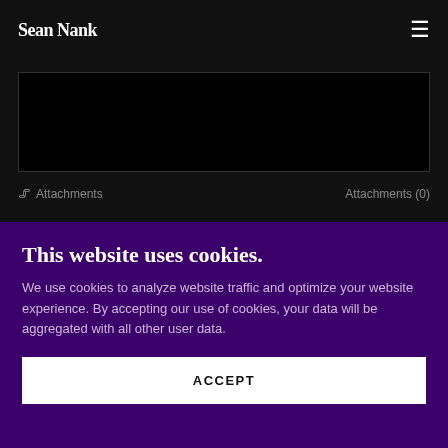Sean Nank
[Figure (screenshot): Dark textarea input box with resize handle]
Attachments   Attachments (0)
This website uses cookies.
We use cookies to analyze website traffic and optimize your website experience. By accepting our use of cookies, your data will be aggregated with all other user data.
ACCEPT